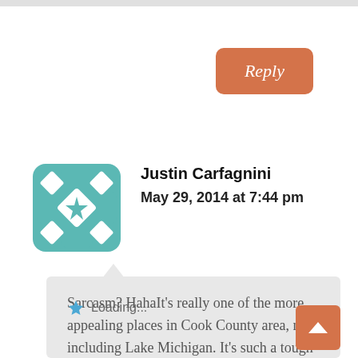Reply
[Figure (illustration): Teal geometric quilt-pattern avatar icon for user Justin Carfagnini]
Justin Carfagnini
May 29, 2014 at 7:44 pm
Sarcasm? HahaIt's really one of the more appealing places in Cook County area, not including Lake Michigan. It's such a tough fishery.
Loading...